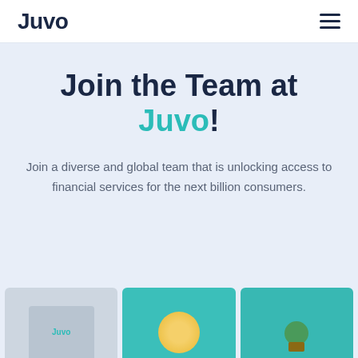Juvo
Join the Team at Juvo!
Join a diverse and global team that is unlocking access to financial services for the next billion consumers.
[Figure (photo): Three photos at the bottom: first shows Juvo-branded office space, second shows a decorative sunburst/fan on teal background, third shows a plant on a shelf with teal background.]